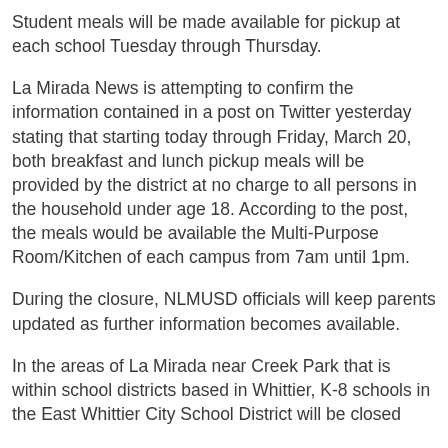Student meals will be made available for pickup at each school Tuesday through Thursday.
La Mirada News is attempting to confirm the information contained in a post on Twitter yesterday stating that starting today through Friday, March 20, both breakfast and lunch pickup meals will be provided by the district at no charge to all persons in the household under age 18. According to the post, the meals would be available the Multi-Purpose Room/Kitchen of each campus from 7am until 1pm.
During the closure, NLMUSD officials will keep parents updated as further information becomes available.
In the areas of La Mirada near Creek Park that is within school districts based in Whittier, K-8 schools in the East Whittier City School District will be closed